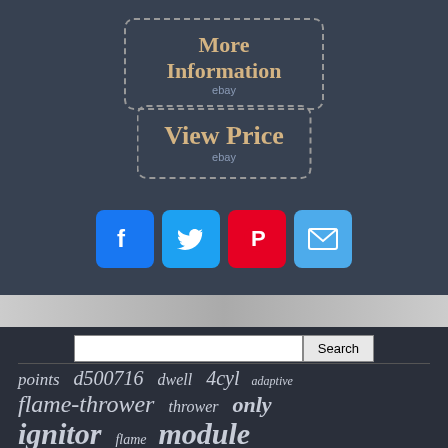[Figure (screenshot): Dark gray background section with 'More Information' ebay button (dashed border, gold text)]
[Figure (screenshot): Dark gray background section with 'View Price' ebay button (dashed border, gold text)]
[Figure (screenshot): Social media share icons: Facebook, Twitter, Pinterest, Email]
[Figure (screenshot): Thumbnail image strip]
[Figure (screenshot): Dark search bar section with tag cloud: points, d500716, dwell, 4cyl, adaptive, flame-thrower, thrower, only, ignitor, module, flame]
points d500716 dwell 4cyl adaptive flame-thrower thrower only ignitor module flame